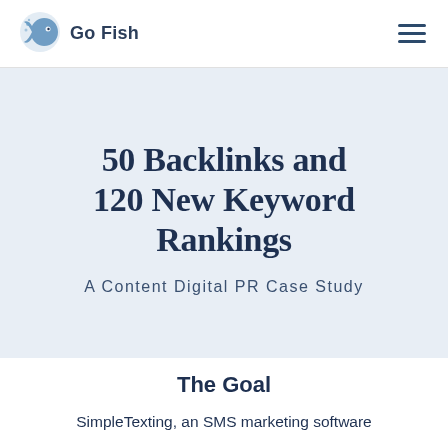[Figure (logo): Go Fish Digital logo with blue fish icon and 'Go Fish' text]
50 Backlinks and 120 New Keyword Rankings
A Content Digital PR Case Study
The Goal
SimpleTexting, an SMS marketing software